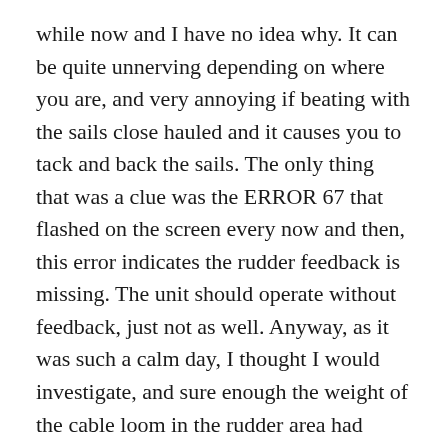while now and I have no idea why. It can be quite unnerving depending on where you are, and very annoying if beating with the sails close hauled and it causes you to tack and back the sails. The only thing that was a clue was the ERROR 67 that flashed on the screen every now and then, this error indicates the rudder feedback is missing. The unit should operate without feedback, just not as well. Anyway, as it was such a calm day, I thought I would investigate, and sure enough the weight of the cable loom in the rudder area had pulled a wire off the sensor connector block. An easy repair, the harness secured better and no more error 67. I also had no more wild course changes, but that may just be a fluke.